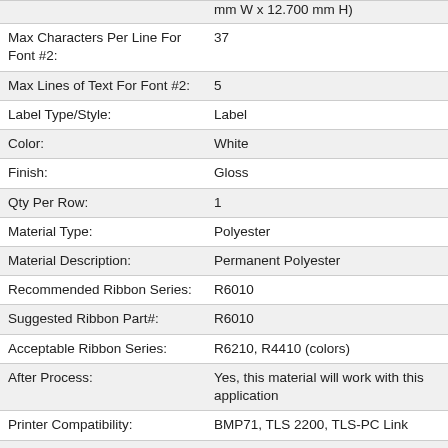| Property | Value |
| --- | --- |
|  | mm W x 12.700 mm H) |
| Max Characters Per Line For Font #2: | 37 |
| Max Lines of Text For Font #2: | 5 |
| Label Type/Style: | Label |
| Color: | White |
| Finish: | Gloss |
| Qty Per Row: | 1 |
| Material Type: | Polyester |
| Material Description: | Permanent Polyester |
| Recommended Ribbon Series: | R6010 |
| Suggested Ribbon Part#: | R6010 |
| Acceptable Ribbon Series: | R6210, R4410 (colors) |
| After Process: | Yes, this material will work with this application |
| Printer Compatibility: | BMP71, TLS 2200, TLS-PC Link |
| Surface: | Smooth |
| Surface Mount Technology: | No, this material does not work with this application |
| Through Hole Technology: | Top: Yes. In extreme high temperatures, testing of this material is recommended, Bottom: No |
| RoHS Compatibility: | Compliant with RoHS Directive
NOTE: All statements concerning RoHS Directive |